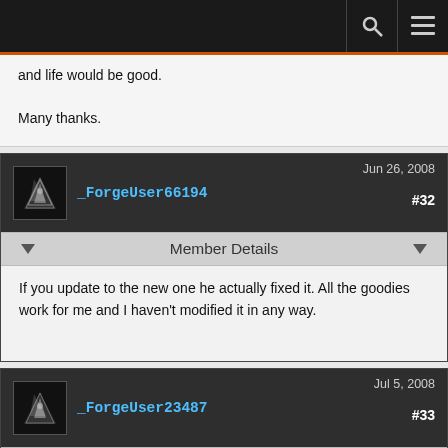Navigation bar with search and menu icons
and life would be good.

Many thanks.
_ForgeUser66194  Jun 26, 2008  #32
Member Details
If you update to the new one he actually fixed it. All the goodies work for me and I haven't modified it in any way.
_ForgeUser23487  Jul 5, 2008  #33
Member Details